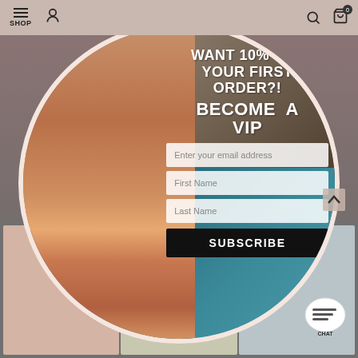SHOP
[Figure (screenshot): E-commerce website popup modal featuring a woman in an orange bikini against a rocky poolside background, with a circular crop, promotional text 'WANT 10% OFF YOUR FIRST ORDER?! BECOME A VIP', email subscription form fields, and a SUBSCRIBE button.]
WANT 10% OFF YOUR FIRST ORDER?!
BECOME A VIP
Enter your email address
First Name
Last Name
SUBSCRIBE
CHAT